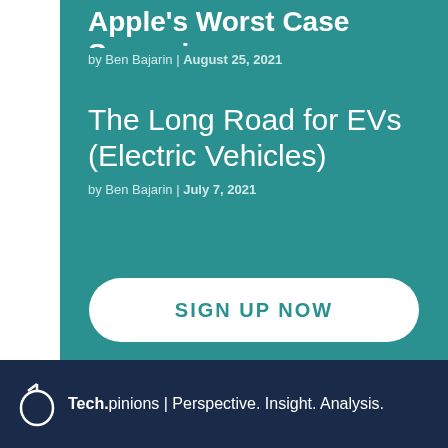Apple's Worst Case Scenario
by Ben Bajarin | August 25, 2021
The Long Road for EVs (Electric Vehicles)
by Ben Bajarin | July 7, 2021
SIGN UP NOW
Tech.pinions | Perspective. Insight. Analysis.